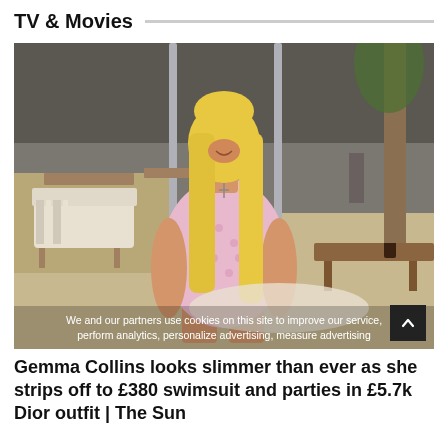TV & Movies
[Figure (photo): Woman with long blonde hair wearing a pink patterned swimsuit, standing in an outdoor resort setting with lounge furniture and a palm tree in the background. A cookie consent overlay text is visible at the bottom of the image.]
We and our partners use cookies on this site to improve our service, perform analytics, personalize advertising, measure advertising
Gemma Collins looks slimmer than ever as she strips off to £380 swimsuit and parties in £5.7k Dior outfit | The Sun